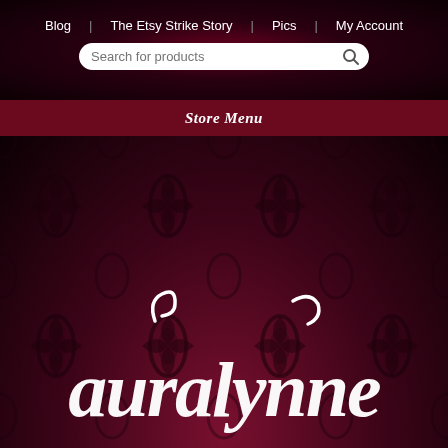Blog | The Etsy Strike Story | Pics | My Account
Store Menu
[Figure (logo): Auralynne decorative script logo in white on dark red damask background pattern]
[Figure (infographic): Social media icons row: Facebook, YouTube, Pinterest, Instagram, Tumblr — white circle icons]
OOAK Sale